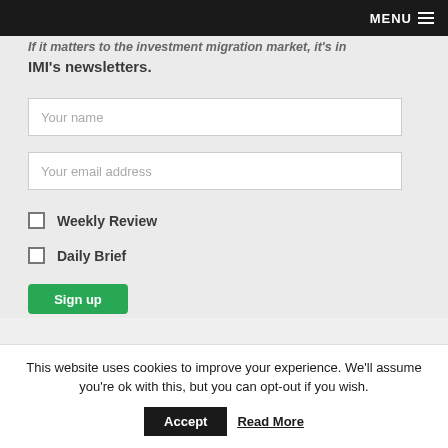MENU
If it matters to the investment migration market, it's in IMI's newsletters.
Your name
Your email address
Weekly Review
Daily Brief
Sign up
This website uses cookies to improve your experience. We'll assume you're ok with this, but you can opt-out if you wish.
Accept
Read More